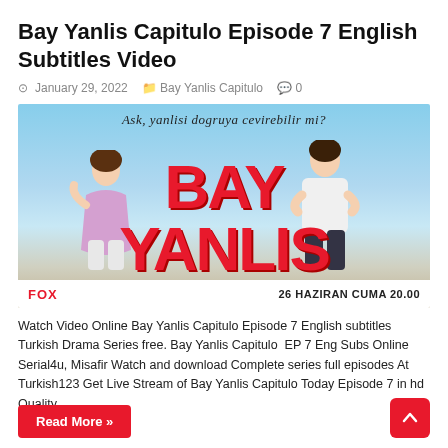Bay Yanlis Capitulo Episode 7 English Subtitles Video
January 29, 2022  Bay Yanlis Capitulo  0
[Figure (photo): Promotional poster for Bay Yanlis Turkish drama series. Two actors (a woman in purple outfit and a man in white shirt) posed in front of large red letters spelling BAY YANLIS. Handwritten Turkish text at top reads 'Ask, yanlisi dogruya cevirebilir mi?' Bottom shows FOX logo and '26 HAZIRAN CUMA 20.00'.]
Watch Video Online Bay Yanlis Capitulo Episode 7 English subtitles Turkish Drama Series free. Bay Yanlis Capitulo  EP 7 Eng Subs Online Serial4u, Misafir Watch and download Complete series full episodes At Turkish123 Get Live Stream of Bay Yanlis Capitulo Today Episode 7 in hd Quality.